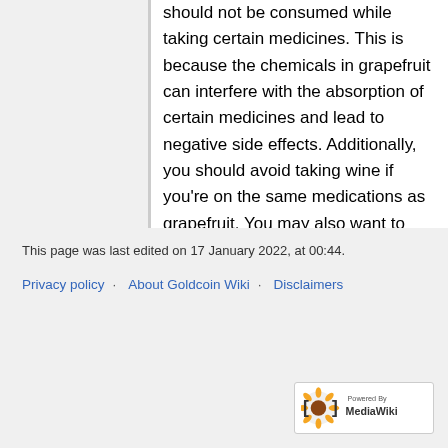should not be consumed while taking certain medicines. This is because the chemicals in grapefruit can interfere with the absorption of certain medicines and lead to negative side effects. Additionally, you should avoid taking wine if you're on the same medications as grapefruit. You may also want to consult your pharmacist if you are unsure about any interactions. If you're unsure of whether grapefruit juice is safe for you, consult your doctor and ask him to review your list of medications.
This page was last edited on 17 January 2022, at 00:44.
Privacy policy | About Goldcoin Wiki | Disclaimers